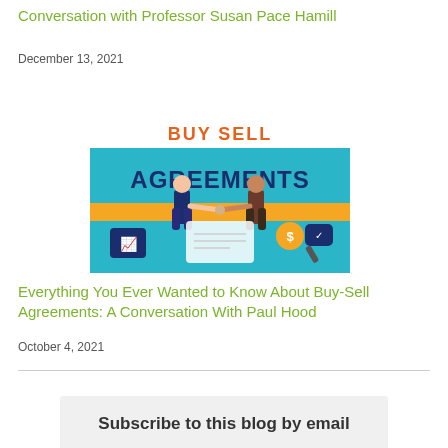Conversation with Professor Susan Pace Hamill
December 13, 2021
[Figure (illustration): Illustrated graphic showing two business people shaking hands with text 'BUY SELL AGREEMENTS' on a teal and orange background, with business icons below.]
Everything You Ever Wanted to Know About Buy-Sell Agreements: A Conversation With Paul Hood
October 4, 2021
Subscribe to this blog by email